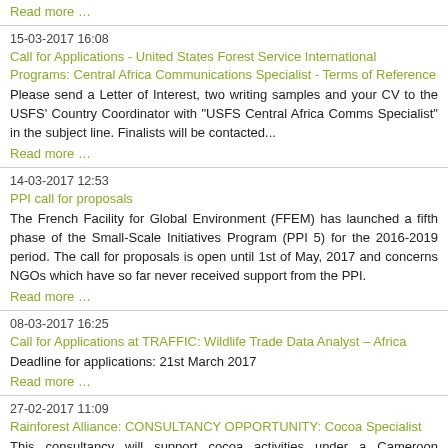Read more ...
15-03-2017 16:08
Call for Applications - United States Forest Service International Programs: Central Africa Communications Specialist - Terms of Reference
Please send a Letter of Interest, two writing samples and your CV to the USFS' Country Coordinator with "USFS Central Africa Comms Specialist" in the subject line. Finalists will be contacted...
Read more ...
14-03-2017 12:53
PPI call for proposals
The French Facility for Global Environment (FFEM) has launched a fifth phase of the Small-Scale Initiatives Program (PPI 5) for the 2016-2019 period. The call for proposals is open until 1st of May, 2017 and concerns NGOs which have so far never received support from the PPI.
Read more ...
08-03-2017 16:25
Call for Applications at TRAFFIC: Wildlife Trade Data Analyst – Africa
Deadline for applications: 21st March 2017
Read more ...
27-02-2017 11:09
Rainforest Alliance: CONSULTANCY OPPORTUNITY: Cocoa Specialist
This consultancy will support cocoa activities under a Cameroon Community Forestry project by providing training on improving productivity and farmer business skills to cocoa farmers in community forests and cocoa landscapes in the Sangmelima-Djoum-Mintom corridor (South region). Consultant will also provide support to the Central Africa Manager in following up and